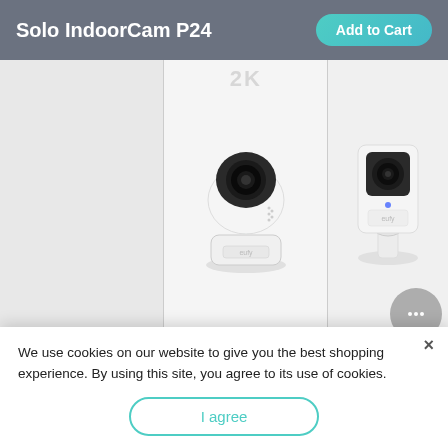Solo IndoorCam P24 | Add to Cart
[Figure (photo): Product comparison showing two eufy indoor security cameras: Solo IndoorCam P24 (pan/tilt style, white, with blue LED, on left) and Solo IndoorCam C24 (fixed mount, white, on right). A '2K' label appears above the P24. The right column is partially visible.]
|  | Solo IndoorCam P24 | Solo IndoorCam C24 |
| --- | --- | --- |
| Power Supply | 5V/2A. 6.7ft Cable | 5V/1A. 6.7ft Cable |
| Weather Resistance |  | Indoor use only |
We use cookies on our website to give you the best shopping experience. By using this site, you agree to its use of cookies.
I agree